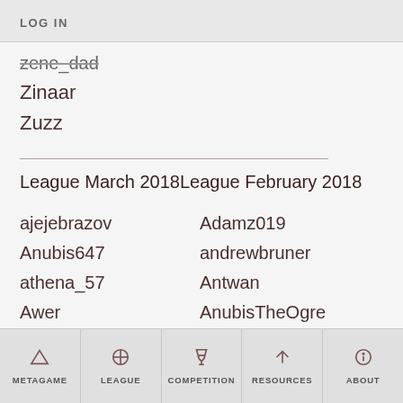LOG IN
zene_dad
Zinaar
Zuzz
League March 2018League February 2018
ajejebrazov
Adamz019
Anubis647
andrewbruner
athena_57
Antwan
Awer
AnubisTheOgre
METAGAME   LEAGUE   COMPETITION   RESOURCES   ABOUT